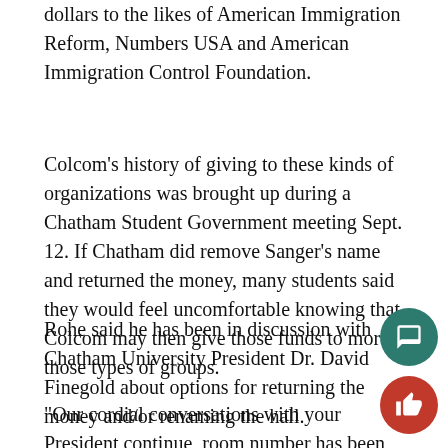dollars to the likes of American Immigration Reform, Numbers USA and American Immigration Control Foundation.
Colcom's history of giving to these kinds of organizations was brought up during a Chatham Student Government meeting Sept. 12. If Chatham did remove Sanger's name and returned the money, many students said they would feel uncomfortable knowing that Colcom may then give those funds to more of those types of groups.
Rohe said he has been in discussion with Chatham University President Dr. David Finegold about options for returning the money and/or renaming the hall.
“Our cordial conversations with your President continue, room number has been discussed. Based on our discussion, the forfeiture of a grant seems quite unlikely,” Rohe said